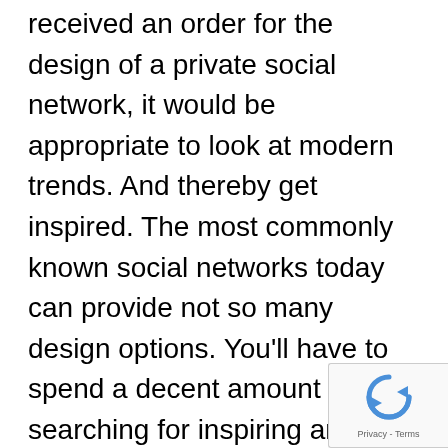received an order for the design of a private social network, it would be appropriate to look at modern trends. And thereby get inspired. The most commonly known social networks today can provide not so many design options. You'll have to spend a decent amount of time searching for inspiring and high-quality designs.

So, I've made a collection of the most beautiful social networks design ideas and decided to post it here. So that it would serve as a source of inspiratio...
[Figure (other): reCAPTCHA badge with blue circular arrow icon and Privacy - Terms text]